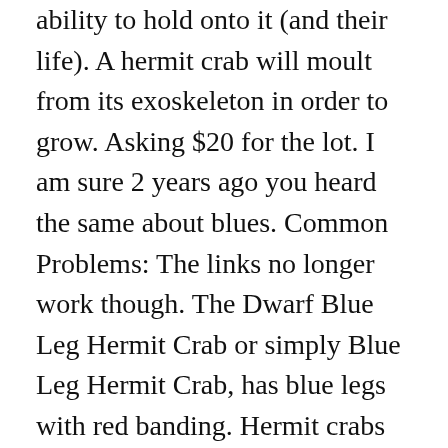ability to hold onto it (and their life). A hermit crab will moult from its exoskeleton in order to grow. Asking $20 for the lot. I am sure 2 years ago you heard the same about blues. Common Problems: The links no longer work though. The Dwarf Blue Leg Hermit Crab or simply Blue Leg Hermit Crab, has blue legs with red banding. Hermit crabs are always on the lookout for new shells to accommodate their growing bodies. Also known simply as the Red Tip Hermit Crab, this omnivore will scavenge all over your live rock and sand substrate – finding its way into the tightest of spaces – to feed on algae and detritus. These hermit crabs are probably the easiest to identify since their entire bodies are a bright, strawberry red. I